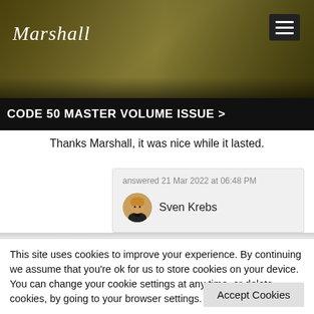[Figure (screenshot): Marshall amplifier website header banner with sepia-toned guitar photo background]
Marshall
CODE 50 MASTER VOLUME ISSUE >
Thanks Marshall, it was nice while it lasted.
answered 21 Mar 2022 at 06:48 PM
Sven Krebs
This site uses cookies to improve your experience. By continuing we assume that you're ok for us to store cookies on your device.
You can change your cookie settings at any time, or delete cookies, by going to your browser settings.